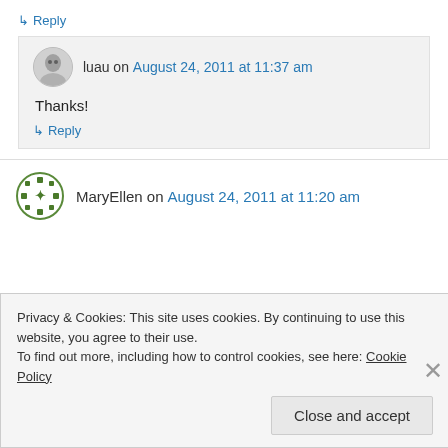↳ Reply
luau on August 24, 2011 at 11:37 am
Thanks!
↳ Reply
MaryEllen on August 24, 2011 at 11:20 am
Privacy & Cookies: This site uses cookies. By continuing to use this website, you agree to their use.
To find out more, including how to control cookies, see here: Cookie Policy
Close and accept